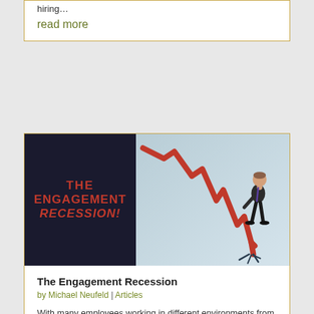hiring…
read more
[Figure (illustration): Article thumbnail showing two panels: left dark panel with red bold text 'THE ENGAGEMENT RECESSION!', right panel showing a businessman in a suit looking down at a red arrow chart crashing through the floor.]
The Engagement Recession
by Michael Neufeld | Articles
With many employees working in different environments from home to social distancing there is a lot of factors that are affecting our